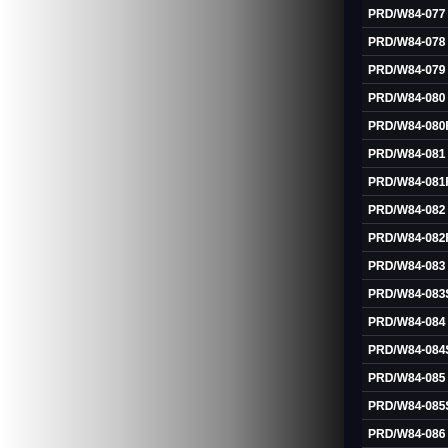[Figure (other): Gradient panel from white to dark gray/black on the left side of the page, with a narrow dark vertical strip separating it from the right panel.]
PRD/W84-077
PRD/W84-078
PRD/W84-079
PRD/W84-080
PRD/W84-080R
PRD/W84-081
PRD/W84-081R
PRD/W84-082
PRD/W84-082R
PRD/W84-083
PRD/W84-083SP
PRD/W84-084
PRD/W84-084SP
PRD/W84-085
PRD/W84-085SP
PRD/W84-086